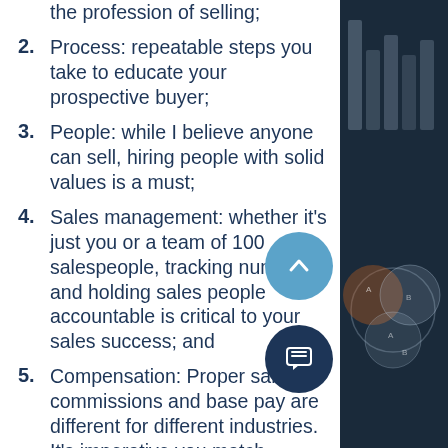the profession of selling;
Process: repeatable steps you take to educate your prospective buyer;
People: while I believe anyone can sell, hiring people with solid values is a must;
Sales management: whether it's just you or a team of 100 salespeople, tracking numbers and holding sales people accountable is critical to your sales success; and
Compensation: Proper sa[les] commissions and base pay are different for different industries. It's imperative you match compensation with